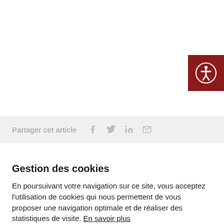[Figure (illustration): Accessibility icon button — dark red square with white circular person/accessibility symbol]
Partager cet article
Gestion des cookies
En poursuivant votre navigation sur ce site, vous acceptez l'utilisation de cookies qui nous permettent de vous proposer une navigation optimale et de réaliser des statistiques de visite. En savoir plus
PERSONNALISER   REFUSER   ACCEPTER